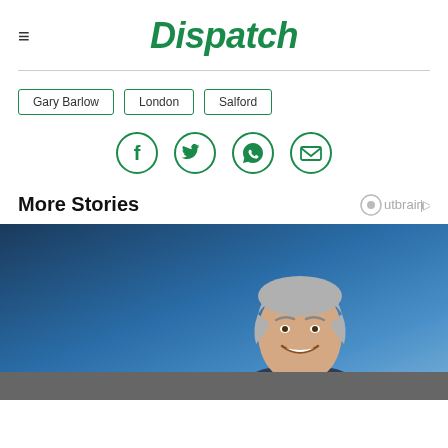Dispatch
Gary Barlow
London
Salford
[Figure (infographic): Social share icons in green circles: Facebook, Twitter, WhatsApp, Email]
More Stories
[Figure (photo): Photo of a grey-haired smiling man in a suit against a blue background]